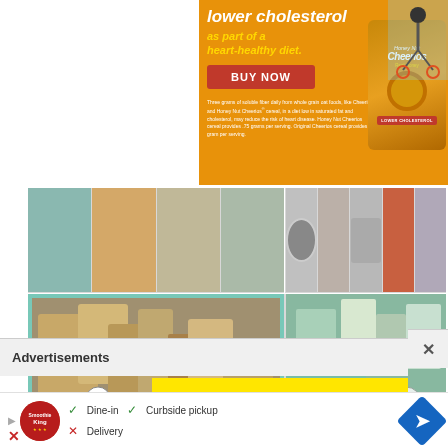[Figure (photo): Honey Nut Cheerios advertisement on orange background. Text reads 'lower cholesterol as part of a heart-healthy diet.' with a red BUY NOW button. Fine print about soluble fiber. Shows Honey Nut Cheerios cereal box and a person on a bicycle.]
[Figure (photo): Photo collage grid of food product subscription boxes and individual gourmet food products (pasta, sauces, snacks, tea, etc.) in small thumbnails arranged in a grid.]
Advertisements
[Figure (screenshot): Bottom advertisement for Smoothie King showing Dine-in (checkmark), Curbside pickup (checkmark), Delivery (X) options with directions button.]